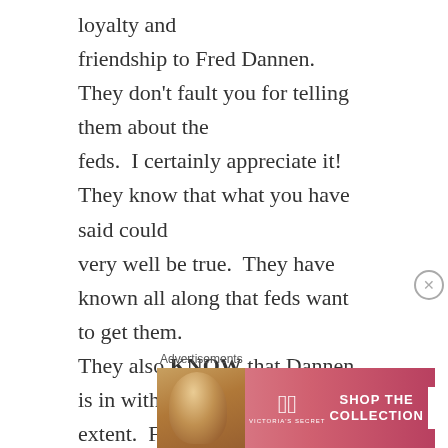loyalty and friendship to Fred Dannen.  They don't fault you for telling them about the feds.  I certainly appreciate it!  They know that what you have said could very well be true.  They have known all along that feds want to get them. They also KNOW that Dannen is in with the feds to some extent.  For some reason, Dannen is on a MISSION to get Tru thrown in jail.  But what do you want Tru and Vic to do about it?  They aren't doing anything wrong.  The
[Figure (other): Victoria's Secret advertisement banner with model, VS logo, 'SHOP THE COLLECTION' text and 'SHOP NOW' button]